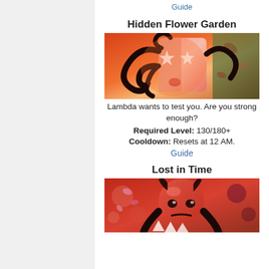Guide
Hidden Flower Garden
[Figure (illustration): Animated illustration of a box-like character with star-shaped eyes, wrapped in dark ribbons, with orange/red glowing background]
Lambda wants to test you. Are you strong enough?
Required Level: 130/180+
Cooldown: Resets at 12 AM.
Guide
Lost in Time
[Figure (illustration): Animated illustration of a red creature character with dark horns and decorative elements in background]